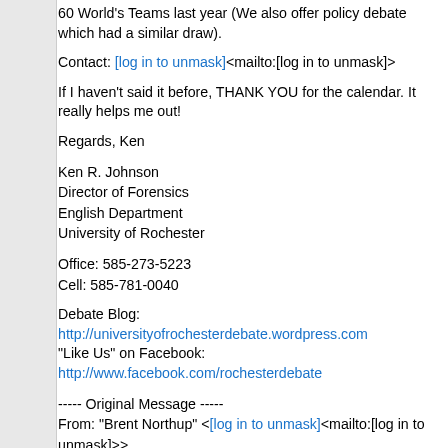60 World's Teams last year (We also offer policy debate which had a similar draw).
Contact: [log in to unmask]<mailto:[log in to unmask]>
If I haven't said it before, THANK YOU for the calendar. It really helps me out!
Regards, Ken
Ken R. Johnson
Director of Forensics
English Department
University of Rochester
Office: 585-273-5223
Cell: 585-781-0040
Debate Blog: http://universityofrochesterdebate.wordpress.com
"Like Us" on Facebook: http://www.facebook.com/rochesterdebate
----- Original Message -----
From: "Brent Northup" <[log in to unmask]<mailto:[log in to unmask]>>
To: [log in to unmask]<mailto:[log in to unmask]>
Sent: Tuesday, March 5, 2013 9:57:57 PM
Subject: Let's start a Worlds Calendar 2013-2014
Hi to all
I'm happy to keep our calendar efforts alive, and even improved for 2013-2014
Let's not eliminate the list-serve. Let's just add a new forum as well. Each has i value.